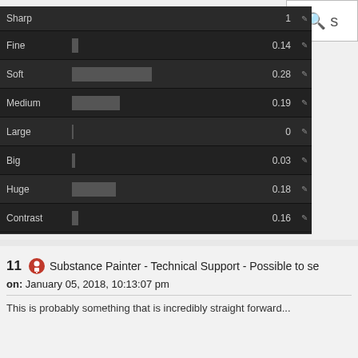[Figure (screenshot): Screenshot of a software UI (Substance Painter) showing sliders for: Sharp 1, Fine 0.14, Soft 0.28, Medium 0.19, Large 0, Big 0.03, Huge 0.18, Contrast 0.16, Brightness -0.14, Curvature 0.99]
11  Substance Painter - Technical Support - Possible to se
on: January 05, 2018, 10:13:07 pm
This is probably something that is incredibly straight forward...